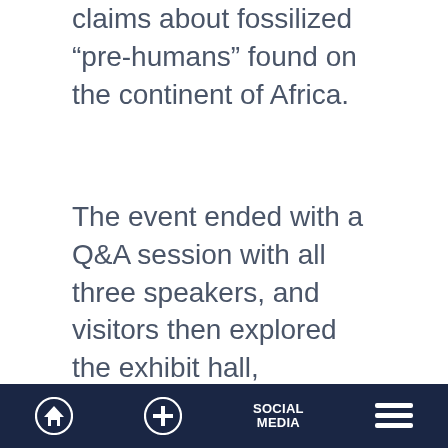claims about fossilized “pre-humans” found on the continent of Africa.
The event ended with a Q&A session with all three speakers, and visitors then explored the exhibit hall, planetarium, and Discovery Store.
We look forward to hosting future events that build Christian believers’ confidence in the Genesis account and equip them to be creation advocates within their spheres of influence.
Home | Plus | Social Media | Menu